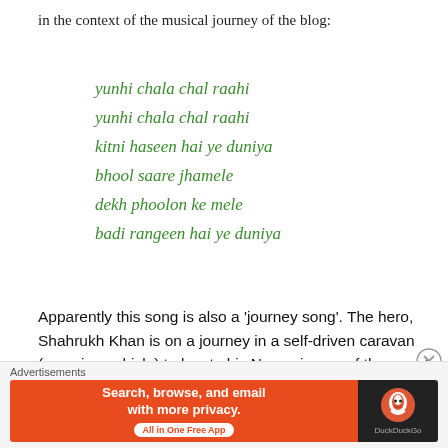in the context of the musical journey of the blog:
yunhi chala chal raahi
yunhi chala chal raahi
kitni haseen hai ye duniya
bhool saare jhamele
dekh phoolon ke mele
badi rangeen hai ye duniya
Apparently this song is also a ‘journey song’. The hero, Shahrukh Khan is on a journey in a self-driven caravan (camping vehicle) to locate his Nanny in one of the remote villages in India. On the way, he is joined by a faqeer (Makarand Deshpande) to help him find the correct
Advertisements
[Figure (other): DuckDuckGo advertisement banner: orange left panel with text 'Search, browse, and email with more privacy. All in One Free App' and dark right panel with DuckDuckGo logo and name.]